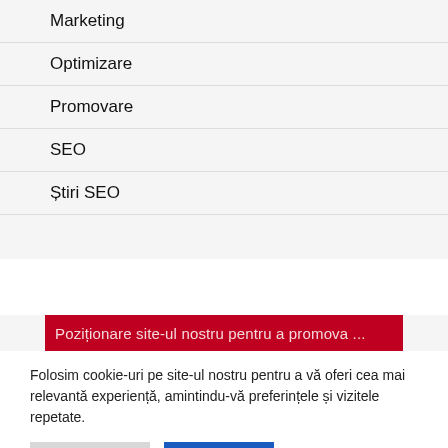Marketing
Optimizare
Promovare
SEO
Știri SEO
[Figure (screenshot): Red banner bar partially visible]
Folosim cookie-uri pe site-ul nostru pentru a vă oferi cea mai relevantă experiență, amintindu-vă preferințele și vizitele repetate.
Setări Cookie | Accept tot